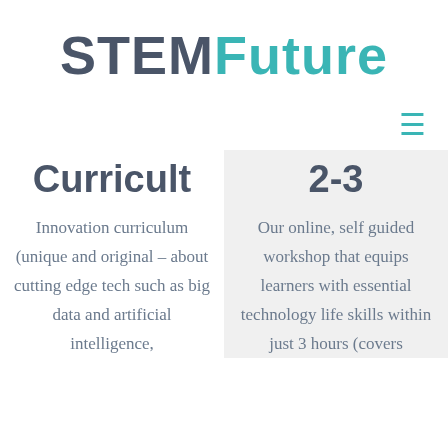STEMFuture
Curricult
2-3
Innovation curriculum (unique and original – about cutting edge tech such as big data and artificial intelligence,
Our online, self guided workshop that equips learners with essential technology life skills within just 3 hours (covers